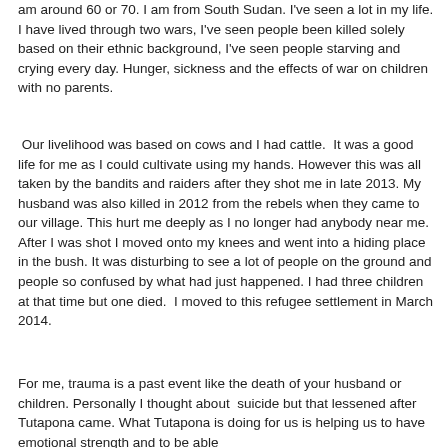am around 60 or 70. I am from South Sudan. I've seen a lot in my life. I have lived through two wars, I've seen people been killed solely based on their ethnic background, I've seen people starving and crying every day. Hunger, sickness and the effects of war on children with no parents.
Our livelihood was based on cows and I had cattle. It was a good life for me as I could cultivate using my hands. However this was all taken by the bandits and raiders after they shot me in late 2013. My husband was also killed in 2012 from the rebels when they came to our village. This hurt me deeply as I no longer had anybody near me. After I was shot I moved onto my knees and went into a hiding place in the bush. It was disturbing to see a lot of people on the ground and people so confused by what had just happened. I had three children at that time but one died. I moved to this refugee settlement in March 2014.
For me, trauma is a past event like the death of your husband or children. Personally I thought about suicide but that lessened after Tutapona came. What Tutapona is doing for us is helping us to have emotional strength and to be able